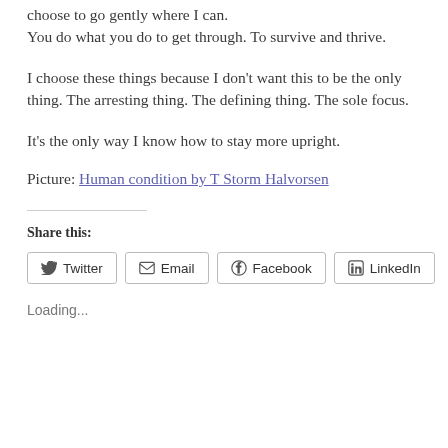choose to go gently where I can.
You do what you do to get through. To survive and thrive.
I choose these things because I don't want this to be the only thing. The arresting thing. The defining thing. The sole focus.
It's the only way I know how to stay more upright.
Picture: Human condition by T Storm Halvorsen
Share this:
Loading...